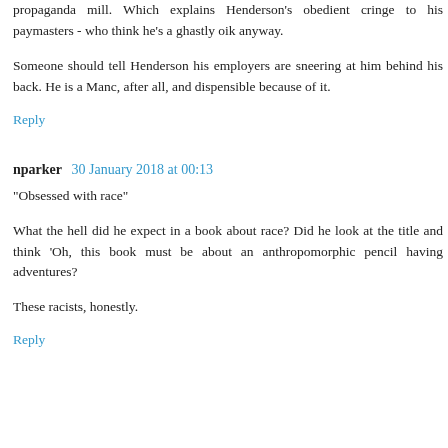propaganda mill. Which explains Henderson's obedient cringe to his paymasters - who think he's a ghastly oik anyway.
Someone should tell Henderson his employers are sneering at him behind his back. He is a Manc, after all, and dispensible because of it.
Reply
nparker  30 January 2018 at 00:13
"Obsessed with race"
What the hell did he expect in a book about race? Did he look at the title and think 'Oh, this book must be about an anthropomorphic pencil having adventures?
These racists, honestly.
Reply